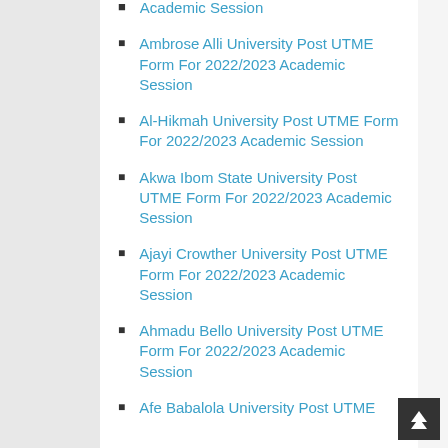Academic Session
Ambrose Alli University Post UTME Form For 2022/2023 Academic Session
Al-Hikmah University Post UTME Form For 2022/2023 Academic Session
Akwa Ibom State University Post UTME Form For 2022/2023 Academic Session
Ajayi Crowther University Post UTME Form For 2022/2023 Academic Session
Ahmadu Bello University Post UTME Form For 2022/2023 Academic Session
Afe Babalola University Post UTME